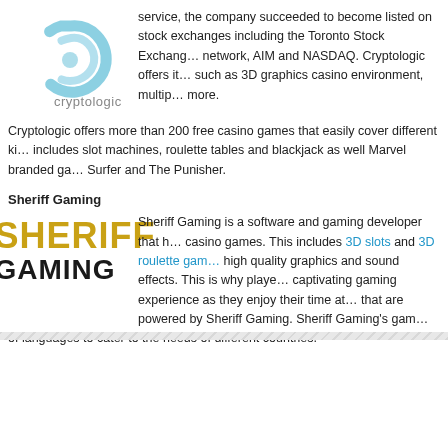[Figure (logo): Cryptologic logo with blue swirl and grey text]
service, the company succeeded to become listed on stock exchanges including the Toronto Stock Exchange, AIM network, AIM and NASDAQ. Cryptologic offers its services such as 3D graphics casino environment, multiplayer and more.
Cryptologic offers more than 200 free casino games that easily cover different kinds. It includes slot machines, roulette tables and blackjack as well Marvel branded games like Silver Surfer and The Punisher.
Sheriff Gaming
[Figure (logo): Sheriff Gaming logo with gold SHERIFF text and black GAMING text]
Sheriff Gaming is a software and gaming developer that has a wide selection of casino games. This includes 3D slots and 3D roulette games, which feature high quality graphics and sound effects. This is why players will have a captivating gaming experience as they enjoy their time at casino sites that are powered by Sheriff Gaming. Sheriff Gaming's games are available in a range of languages to cater to the needs of different countries.